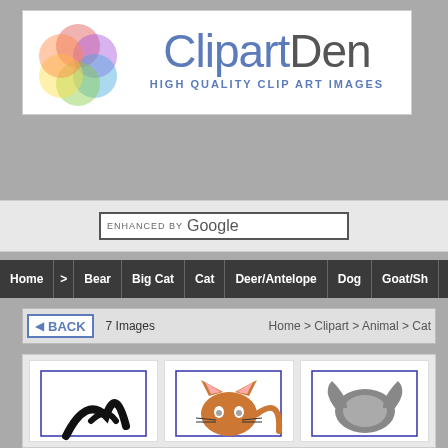[Figure (logo): ClipartDen logo with overlapping colorful circles and text 'ClipartDen' with subtitle 'HIGH QUALITY CLIP ART IMAGES']
[Figure (screenshot): Google search bar with 'ENHANCED BY Google' text]
[Figure (screenshot): Navigation bar with items: Home, >, Bear, Big Cat, Cat, Deer/Antelope, Dog, Goat/Sh...]
[Figure (screenshot): Back navigation bar showing '7 Images' and breadcrumb 'Home > Clipart > Animal > Cat']
[Figure (screenshot): Row of three clipart thumbnail images of cats]